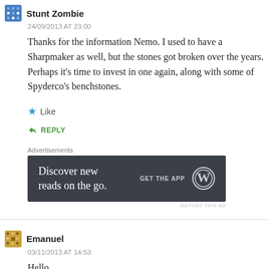Stunt Zombie
24/09/2013 AT 23:00
Thanks for the information Nemo. I used to have a Sharpmaker as well, but the stones got broken over the years. Perhaps it's time to invest in one again, along with some of Spyderco's benchstones.
★ Like
↳ REPLY
Advertisements
[Figure (screenshot): Dark advertisement banner reading 'Discover new reads on the go.' with 'GET THE APP' and WordPress logo on the right]
REPORT THIS AD
Emanuel
03/11/2013 AT 14:53
Hello,